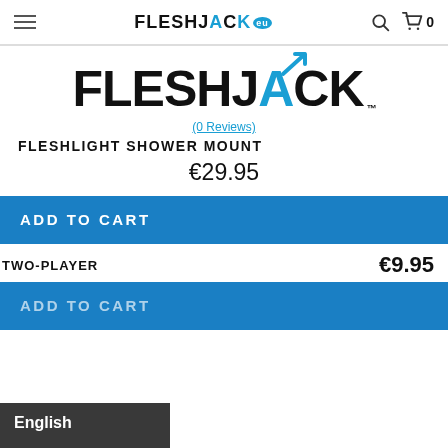FLESHJACK.eu — navigation header with menu, search, and cart icons
[Figure (logo): FLESHJACK brand logo in large bold black text with blue stylized male symbol replacing the A]
(0 Reviews)
FLESHLIGHT SHOWER MOUNT
€29.95
ADD TO CART
TWO-PLAYER
€9.95
ADD TO CART
English